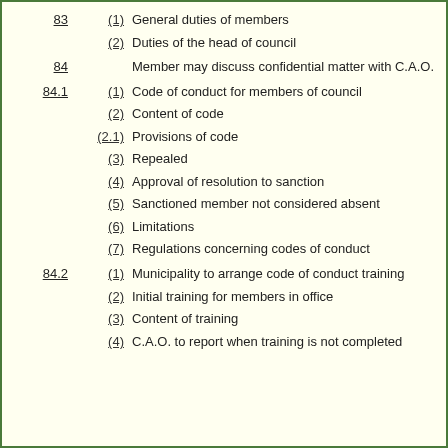83 (1) General duties of members
83 (2) Duties of the head of council
84 Member may discuss confidential matter with C.A.O.
84.1 (1) Code of conduct for members of council
84.1 (2) Content of code
84.1 (2.1) Provisions of code
84.1 (3) Repealed
84.1 (4) Approval of resolution to sanction
84.1 (5) Sanctioned member not considered absent
84.1 (6) Limitations
84.1 (7) Regulations concerning codes of conduct
84.2 (1) Municipality to arrange code of conduct training
84.2 (2) Initial training for members in office
84.2 (3) Content of training
84.2 (4) C.A.O. to report when training is not completed